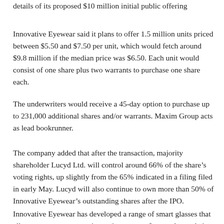details of its proposed $10 million initial public offering
Innovative Eyewear said it plans to offer 1.5 million units priced between $5.50 and $7.50 per unit, which would fetch around $9.8 million if the median price was $6.50. Each unit would consist of one share plus two warrants to purchase one share each.
The underwriters would receive a 45-day option to purchase up to 231,000 additional shares and/or warrants. Maxim Group acts as lead bookrunner.
The company added that after the transaction, majority shareholder Lucyd Ltd. will control around 66% of the share’s voting rights, up slightly from the 65% indicated in a filing filed in early May. Lucyd will also continue to own more than 50% of Innovative Eyewear’s outstanding shares after the IPO.
Innovative Eyewear has developed a range of smart glasses that allow wearers to use a voice assistant to perform tasks on their